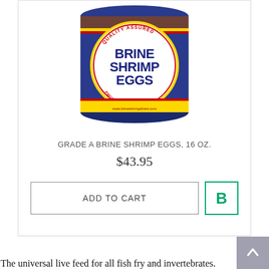[Figure (photo): A tin can of Brine Shrimp Eggs product with a label showing 'QUALITY ASSURED', 'BRINE SHRIMP EGGS', 'PRODUCT OF THE U.S.A.' and website www.brineshrimpdirect.com]
GRADE A BRINE SHRIMP EGGS, 16 OZ.
$43.95
ADD TO CART
The universal live feed for all fish fry and invertebrates.